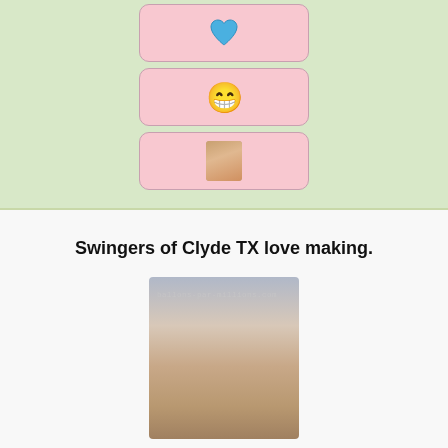[Figure (illustration): Pink card with blue heart icon]
[Figure (illustration): Pink card with grinning emoji face]
[Figure (illustration): Pink card with small portrait photo thumbnail]
Swingers of Clyde TX love making.
[Figure (photo): Portrait photo of a young woman with dark hair lying down, watermark reads ballons-par-millions.com]